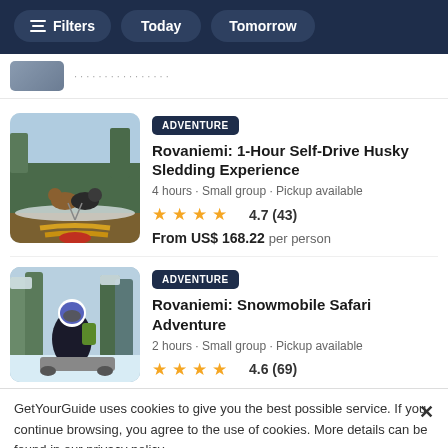Filters  Today  Tomorrow
[Figure (photo): Partial listing thumbnail, partially visible at top]
[Figure (photo): Husky sledding from behind perspective, dogs running on snowy trail, yellow sled runners visible]
ADVENTURE
Rovaniemi: 1-Hour Self-Drive Husky Sledding Experience
4 hours • Small group • Pickup available
4.7 (43)
From US$ 168.22 per person
[Figure (photo): Person in helmet and ski gear on snowmobile amid snow-covered trees]
ADVENTURE
Rovaniemi: Snowmobile Safari Adventure
2 hours • Small group • Pickup available
4.6 (69)
GetYourGuide uses cookies to give you the best possible service. If you continue browsing, you agree to the use of cookies. More details can be found in our privacy policy.